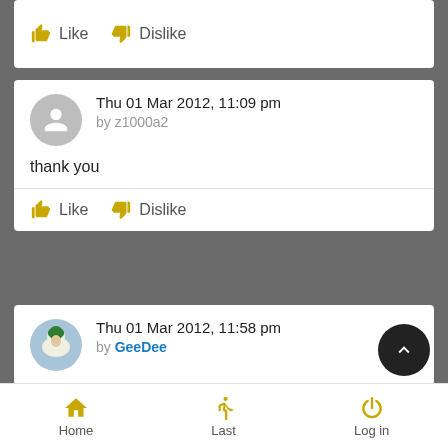[Figure (screenshot): Like and Dislike buttons bar at top]
Thu 01 Mar 2012, 11:09 pm
by z1000a2

thank you
[Figure (screenshot): Like and Dislike buttons for first comment]
Thu 01 Mar 2012, 11:58 pm
by GeeDee

@ LaZanzaraRombante

This is definately an rFactor mod and not for GTL.
Home  Last  Log in